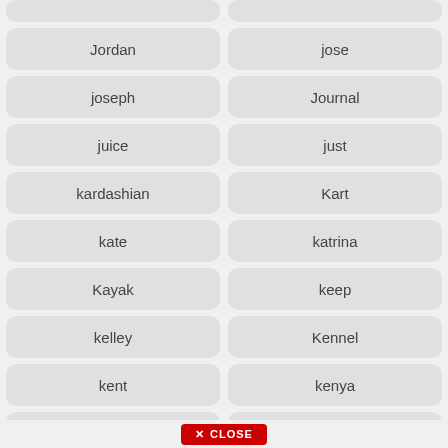Jordan
jose
joseph
Journal
juice
just
kardashian
Kart
kate
katrina
Kayak
keep
kelley
Kennel
kent
kenya
kerala
kettle